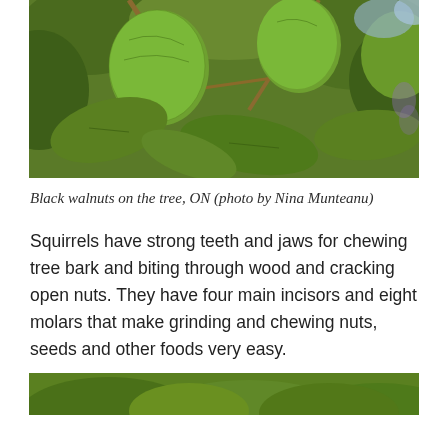[Figure (photo): Close-up photo of green black walnuts hanging on a tree with leaves visible, outdoor nature shot.]
Black walnuts on the tree, ON (photo by Nina Munteanu)
Squirrels have strong teeth and jaws for chewing tree bark and biting through wood and cracking open nuts. They have four main incisors and eight molars that make grinding and chewing nuts, seeds and other foods very easy.
[Figure (photo): Partial photo of green foliage at the bottom of the page, cropped.]